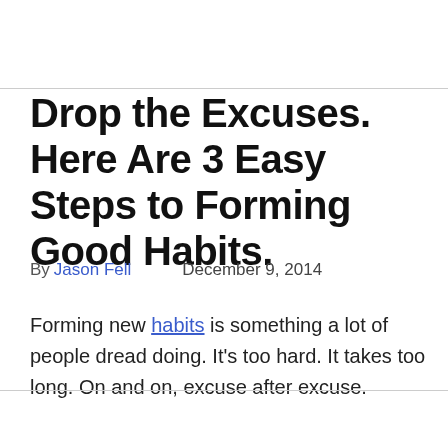Drop the Excuses. Here Are 3 Easy Steps to Forming Good Habits.
By Jason Fell    December 9, 2014
Forming new habits is something a lot of people dread doing. It's too hard. It takes too long. On and on, excuse after excuse.